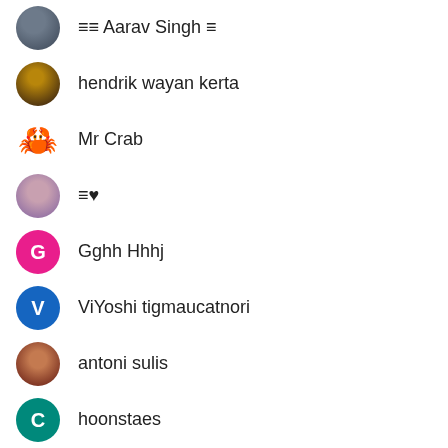≡≡ Aarav Singh ≡
hendrik wayan kerta
Mr Crab
≡♥
Gghh Hhhj
ViYoshi tigmaucatnori
antoni sulis
hoonstaes
MIX IS 😴ᶻᶻᶻ
MaxCat107
Z E R O • D O S |Pls untag me when joining ...
Java
mayonaise mendoza